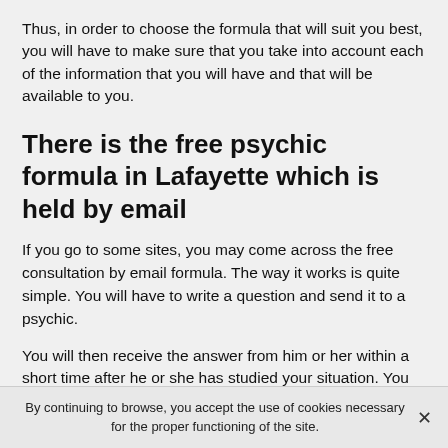Thus, in order to choose the formula that will suit you best, you will have to make sure that you take into account each of the information that you will have and that will be available to you.
There is the free psychic formula in Lafayette which is held by email
If you go to some sites, you may come across the free consultation by email formula. The way it works is quite simple. You will have to write a question and send it to a psychic.
You will then receive the answer from him or her within a short time after he or she has studied your situation. You should know that his or her analysis can be based only on what he or she retains or by performing an oracle, tarot or
By continuing to browse, you accept the use of cookies necessary for the proper functioning of the site.